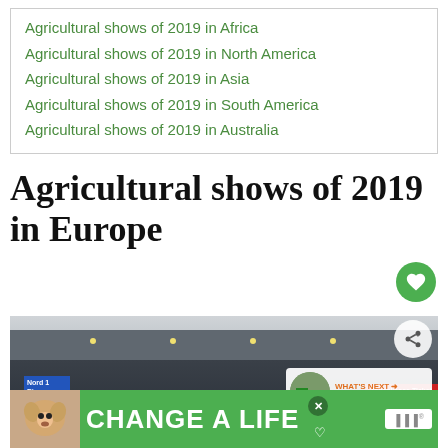Agricultural shows of 2019 in Africa
Agricultural shows of 2019 in North America
Agricultural shows of 2019 in Asia
Agricultural shows of 2019 in South America
Agricultural shows of 2019 in Australia
Agricultural shows of 2019 in Europe
[Figure (photo): Exterior photo of a large exhibition hall building with glass facade, a blue 'Nord 1' sign, and a red ticket banner. An advertisement banner for 'CHANGE A LIFE' featuring a dog is overlaid at the bottom. A 'What's Next' panel with a tractor thumbnail appears on the right.]